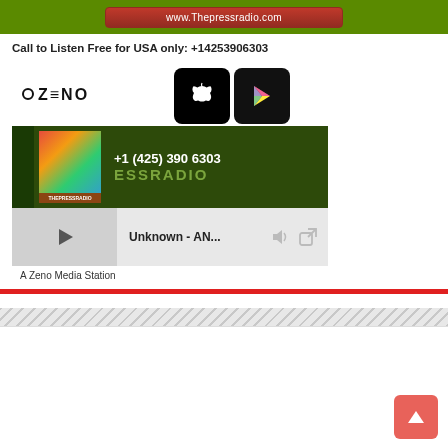[Figure (screenshot): Green banner with red button showing www.Thepressradio.com]
Call to Listen Free for USA only: +14253906303
[Figure (screenshot): Zeno media player widget with Apple and Google Play app buttons, radio station image showing +1 (425) 390 6303 and PRESSRADIO text, and player controls showing 'Unknown - AN...' with play button, volume and external link icons. Below: 'A Zeno Media Station']
[Figure (other): Red horizontal divider line followed by diagonal stripe pattern and white content area with a scroll-to-top button in the bottom right corner]